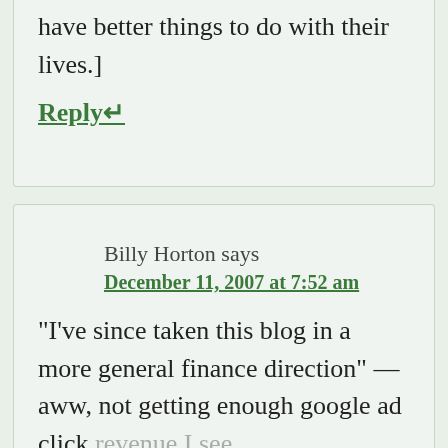have better things to do with their lives.]
Reply↵
Billy Horton says
December 11, 2007 at 7:52 am
“I’ve since taken this blog in a more general finance direction” — aww, not getting enough google ad click revenue I see.